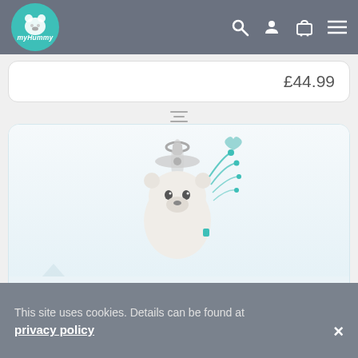myHummy navigation bar with logo, search, account, cart, and menu icons
£44.99
[Figure (photo): myHummy Mini ecru product image — a small cream-colored stuffed bear toy with a spinning fan clip attachment on top, decorated with teal musical note swirls and a small teal heart]
myHummy Mini - ecru
[Figure (illustration): Four heart-shaped color swatches: white/ecru, teal, purple/pink, and teal — representing product color variants]
This site uses cookies. Details can be found at privacy policy